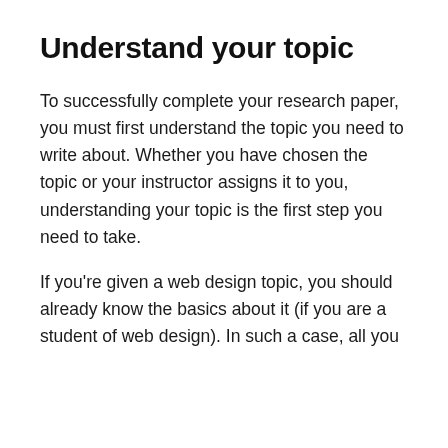Understand your topic
To successfully complete your research paper, you must first understand the topic you need to write about. Whether you have chosen the topic or your instructor assigns it to you, understanding your topic is the first step you need to take.
If you’re given a web design topic, you should already know the basics about it (if you are a student of web design). In such a case, all you